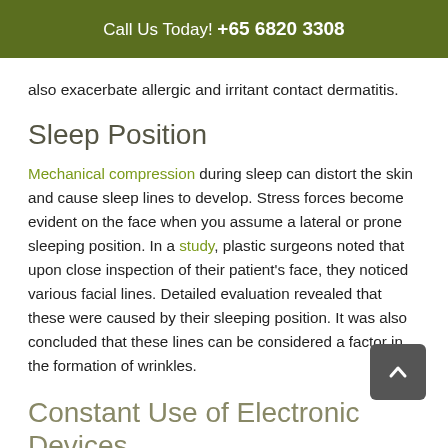Call Us Today! +65 6820 3308
also exacerbate allergic and irritant contact dermatitis.
Sleep Position
Mechanical compression during sleep can distort the skin and cause sleep lines to develop. Stress forces become evident on the face when you assume a lateral or prone sleeping position. In a study, plastic surgeons noted that upon close inspection of their patient's face, they noticed various facial lines. Detailed evaluation revealed that these were caused by their sleeping position. It was also concluded that these lines can be considered a factor in the formation of wrinkles.
Constant Use of Electronic Devices